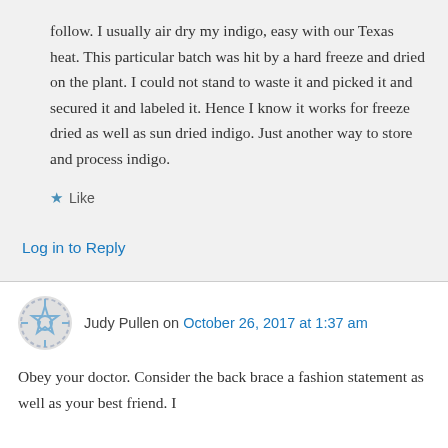follow. I usually air dry my indigo, easy with our Texas heat. This particular batch was hit by a hard freeze and dried on the plant. I could not stand to waste it and picked it and secured it and labeled it. Hence I know it works for freeze dried as well as sun dried indigo. Just another way to store and process indigo.
★ Like
Log in to Reply
Judy Pullen on October 26, 2017 at 1:37 am
Obey your doctor. Consider the back brace a fashion statement as well as your best friend. I